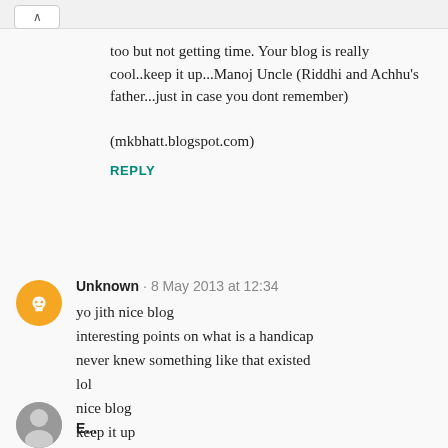too but not getting time. Your blog is really cool..keep it up...Manoj Uncle (Riddhi and Achhu's father...just in case you dont remember)

(mkbhatt.blogspot.com)
REPLY
Unknown · 8 May 2013 at 12:34
yo jith nice blog
interesting points on what is a handicap
never knew something like that existed
lol
nice blog
keep it up
REPLY